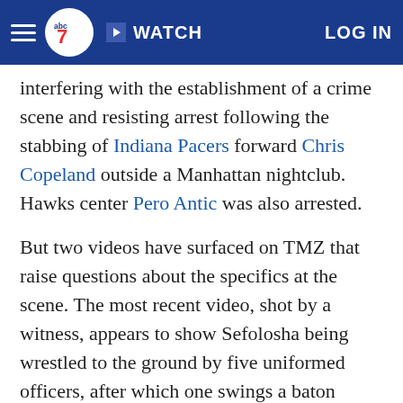ABC7 navigation bar with hamburger menu, ABC7 logo, WATCH button, and LOG IN
interfering with the establishment of a crime scene and resisting arrest following the stabbing of Indiana Pacers forward Chris Copeland outside a Manhattan nightclub. Hawks center Pero Antic was also arrested.
But two videos have surfaced on TMZ that raise questions about the specifics at the scene. The most recent video, shot by a witness, appears to show Sefolosha being wrestled to the ground by five uniformed officers, after which one swings a baton forcefully, apparently at Sefolosha's lower body.
A New York Police Department spokesman said Saturday that its Internal Affairs Bureau is reviewing the "entire incident" surrounding the arrests of